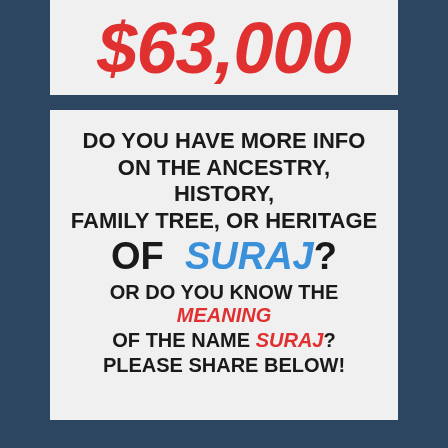$63,000
DO YOU HAVE MORE INFO ON THE ANCESTRY, HISTORY, FAMILY TREE, OR HERITAGE OF SURAJ? OR DO YOU KNOW THE MEANING OF THE NAME SURAJ? PLEASE SHARE BELOW!